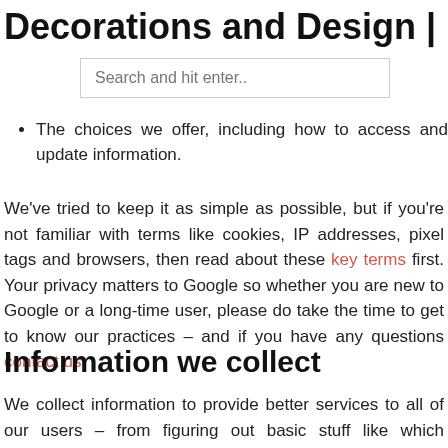Decorations and Design | Home and
[Figure (screenshot): Search input box with placeholder text 'Search and hit enter..']
The choices we offer, including how to access and update information.
We've tried to keep it as simple as possible, but if you're not familiar with terms like cookies, IP addresses, pixel tags and browsers, then read about these key terms first. Your privacy matters to Google so whether you are new to Google or a long-time user, please do take the time to get to know our practices – and if you have any questions contact us.
Information we collect
We collect information to provide better services to all of our users – from figuring out basic stuff like which language you speak, to more complex things like which ads you'll find most useful or the people who matter most to you online.
We collect information in two ways:
Information you give us. For example, many of our services